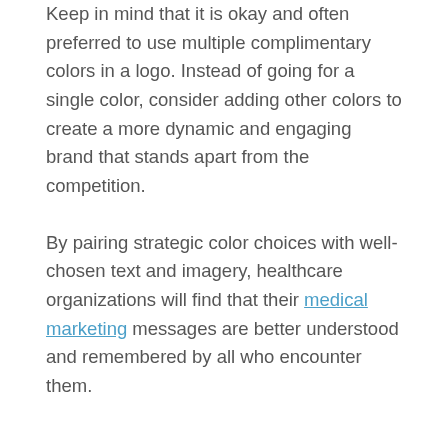Keep in mind that it is okay and often preferred to use multiple complimentary colors in a logo. Instead of going for a single color, consider adding other colors to create a more dynamic and engaging brand that stands apart from the competition.
By pairing strategic color choices with well-chosen text and imagery, healthcare organizations will find that their medical marketing messages are better understood and remembered by all who encounter them.